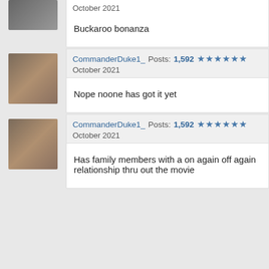October 2021
Buckaroo bonanza
CommanderDuke1_  Posts: 1,592  ★★★★★★
October 2021
Nope noone has got it yet
CommanderDuke1_  Posts: 1,592  ★★★★★★
October 2021
Has family members with a on again off again relationship thru out the movie